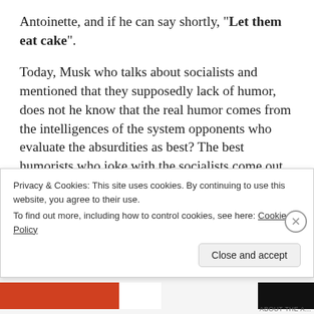Antoinette, and if he can say shortly, "Let them eat cake".
Today, Musk who talks about socialists and mentioned that they supposedly lack of humor, does not he know that the real humor comes from the intelligences of the system opponents who evaluate the absurdities as best? The best humorists who joke with the socialists come out from socialists again. For example, the Trotskyist produces humor against Stalinist, or Leninist against the Maoist. Elon Musk, please
Privacy & Cookies: This site uses cookies. By continuing to use this website, you agree to their use.
To find out more, including how to control cookies, see here: Cookie Policy
Close and accept